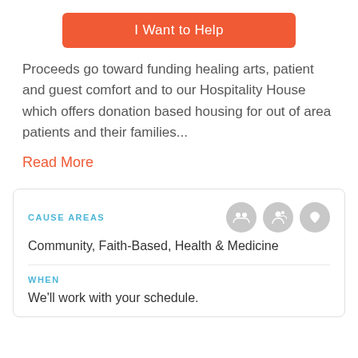[Figure (other): Orange 'I Want to Help' button]
Proceeds go toward funding healing arts, patient and guest comfort and to our Hospitality House which offers donation based housing for out of area patients and their families...
Read More
CAUSE AREAS
Community, Faith-Based, Health & Medicine
WHEN
We'll work with your schedule.